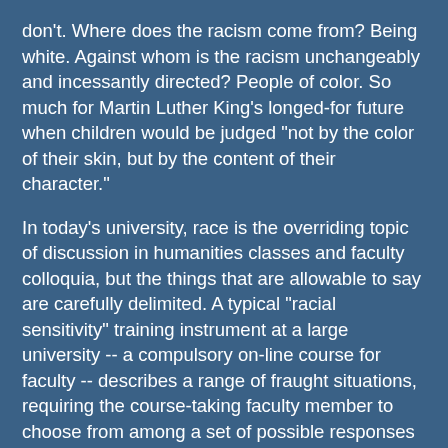don't. Where does the racism come from? Being white. Against whom is the racism unchangeably and incessantly directed? People of color. So much for Martin Luther King's longed-for future when children would be judged "not by the color of their skin, but by the content of their character."
In today's university, race is the overriding topic of discussion in humanities classes and faculty colloquia, but the things that are allowable to say are carefully delimited. A typical "racial sensitivity" training instrument at a large university -- a compulsory on-line course for faculty -- describes a range of fraught situations, requiring the course-taking faculty member to choose from among a set of possible responses to each one. If he or she doesn't choose the "right" interpretation, the program will not let him or her proceed to the next question. Here's a fictional example that closely resembles the real ones: "A colleague reveals to you that he is teaching a Shakespeare play which contains several racially offensive epithets. He's concerned that these will embarrass the students of color in his class. You should: a.) suggest your colleague choose a different play, b.) suggest your colleague condemn the racial epithets and use them as